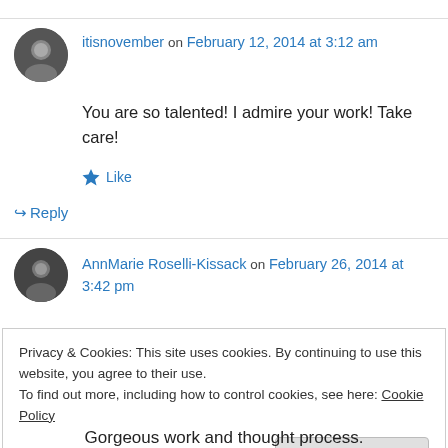itisnovember on February 12, 2014 at 3:12 am
You are so talented! I admire your work! Take care!
Like
Reply
AnnMarie Roselli-Kissack on February 26, 2014 at 3:42 pm
Privacy & Cookies: This site uses cookies. By continuing to use this website, you agree to their use.
To find out more, including how to control cookies, see here: Cookie Policy
Close and accept
Gorgeous work and thought process.